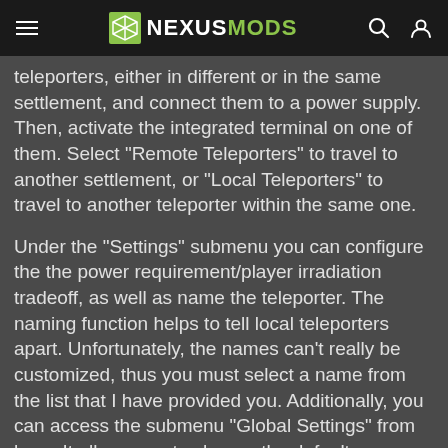NEXUSMODS
teleporters, either in different or in the same settlement, and connect them to a power supply. Then, activate the integrated terminal on one of them. Select "Remote Teleporters" to travel to another settlement, or "Local Teleporters" to travel to another teleporter within the same one.
Under the "Settings" submenu you can configure the the power requirement/player irradiation tradeoff, as well as name the teleporter. The naming function helps to tell local teleporters apart. Unfortunately, the names can't really be customized, thus you must select a name from the list that I have provided you. Additionally, you can access the submenu "Global Settings" from here. It allows you to change the default power requirement of any newly-built teleporters, among other things.